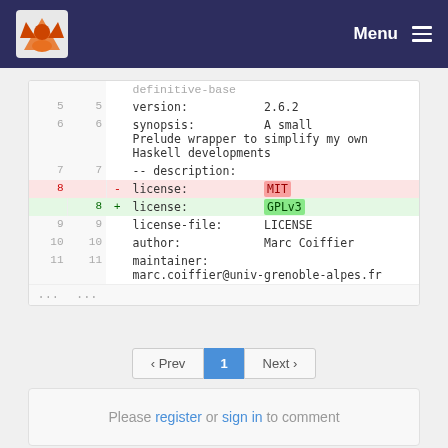Menu
| old_line | new_line | prefix | code |
| --- | --- | --- | --- |
|  |  |  | definitive-base |
| 5 | 5 |  | version:           2.6.2 |
| 6 | 6 |  | synopsis:          A small |
|  |  |  | Prelude wrapper to simplify my own |
|  |  |  | Haskell developments |
| 7 | 7 |  | -- description: |
| 8 |  | - | license:           MIT |
|  | 8 | + | license:           GPLv3 |
| 9 | 9 |  | license-file:      LICENSE |
| 10 | 10 |  | author:            Marc Coiffier |
| 11 | 11 |  | maintainer: |
|  |  |  | marc.coiffier@univ-grenoble-alpes.fr |
| ... | ... |  |  |
‹ Prev  1  Next ›
Please register or sign in to comment